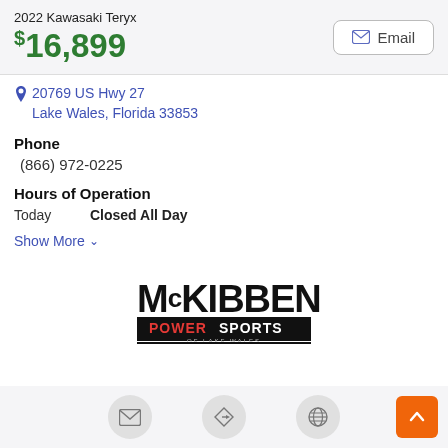2022 Kawasaki Teryx
$16,899
20769 US Hwy 27
Lake Wales, Florida 33853
Phone
(866) 972-0225
Hours of Operation
Today   Closed All Day
Show More
[Figure (logo): McKibben Powersports of Lake Wales logo — bold black text 'McKIBBEN' with 'POWERSPORTS' in red/white on black bar, 'OF LAKE WALES' subtitle]